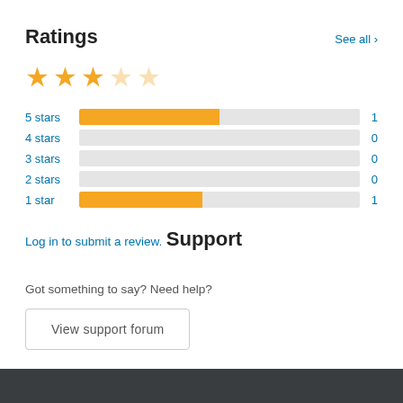Ratings
See all >
[Figure (other): 3 filled gold stars and 2 empty gold stars showing approximately 3-out-of-5 rating]
[Figure (bar-chart): Star rating breakdown]
Log in to submit a review.
Support
Got something to say? Need help?
View support forum